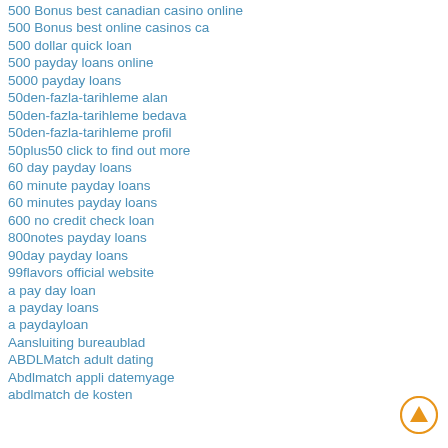500 Bonus best canadian casino online
500 Bonus best online casinos ca
500 dollar quick loan
500 payday loans online
5000 payday loans
50den-fazla-tarihleme alan
50den-fazla-tarihleme bedava
50den-fazla-tarihleme profil
50plus50 click to find out more
60 day payday loans
60 minute payday loans
60 minutes payday loans
600 no credit check loan
800notes payday loans
90day payday loans
99flavors official website
a pay day loan
a payday loans
a paydayloan
Aansluiting bureaublad
ABDLMatch adult dating
Abdlmatch appli datemyage
abdlmatch de kosten